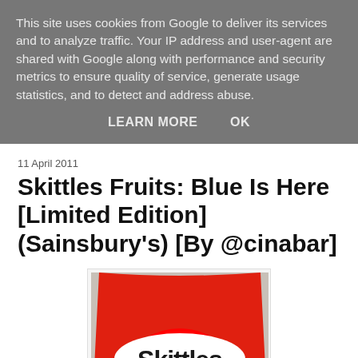This site uses cookies from Google to deliver its services and to analyze traffic. Your IP address and user-agent are shared with Google along with performance and security metrics to ensure quality of service, generate usage statistics, and to detect and address abuse.
LEARN MORE    OK
11 April 2011
Skittles Fruits: Blue Is Here [Limited Edition] (Sainsbury's) [By @cinabar]
[Figure (photo): A red bag of Skittles Fruits candy with rainbow illustration and 'Blue is Here!' text indicating a limited edition blue flavor.]